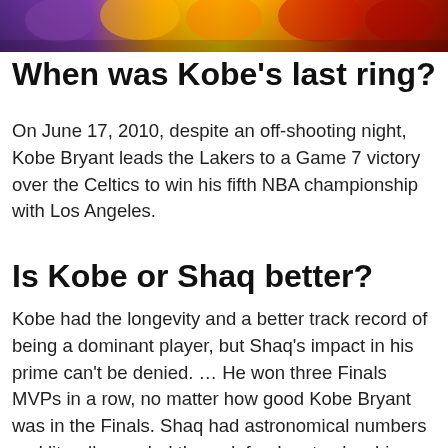[Figure (photo): Sports photo strip showing basketball players including Lakers players in purple/gold and Celtics players in red/green jerseys]
When was Kobe’s last ring?
On June 17, 2010, despite an off-shooting night, Kobe Bryant leads the Lakers to a Game 7 victory over the Celtics to win his fifth NBA championship with Los Angeles.
Is Kobe or Shaq better?
Kobe had the longevity and a better track record of being a dominant player, but Shaq’s impact in his prime can’t be denied. … He won three Finals MVPs in a row, no matter how good Kobe Bryant was in the Finals. Shaq had astronomical numbers and literally needed three defenders to slow him down.